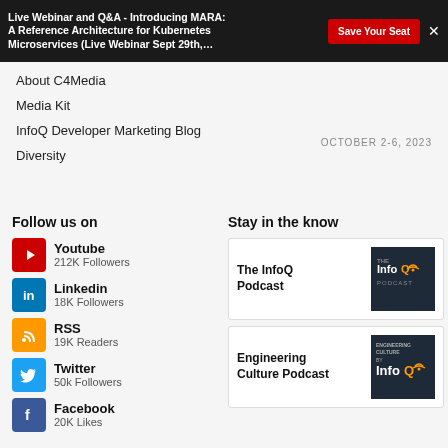Live Webinar and Q&A - Introducing MARA: A Reference Architecture for Kubernetes Microservices (Live Webinar Sept 29th,…  Save Your Seat  ×
About C4Media
OCTOBER 2-6, 2023
Media Kit
InfoQ Developer Marketing Blog
Diversity
Follow us on
Youtube
212K Followers
Linkedin
18K Followers
RSS
19K Readers
Twitter
50k Followers
Facebook
20K Likes
Stay in the know
[Figure (illustration): The InfoQ Podcast card with logo]
The InfoQ Podcast
[Figure (illustration): Engineering Culture Podcast card with logo]
Engineering Culture Podcast